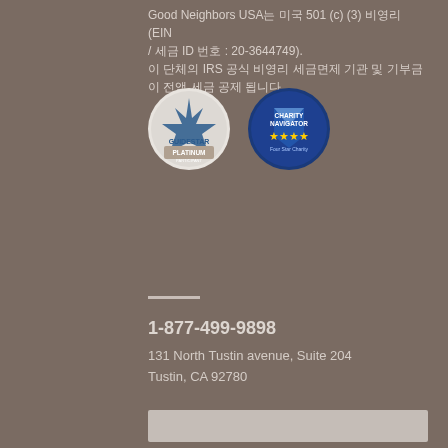Good Neighbors USA는 미국 501 (c) (3) 비영리 (EIN / 세금 ID 번호 : 20-3644749). 이 단체의 IRS 공식 비영리 세금면제 기관 및 기부금이 전액 세금 공제 됩니다.
[Figure (logo): GuideStar Platinum Participant badge and Charity Navigator Four Star Charity badge]
1-877-499-9898
131 North Tustin avenue, Suite 204
Tustin, CA 92780